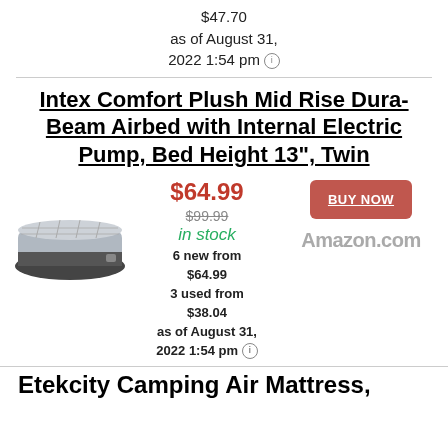$47.70
as of August 31, 2022 1:54 pm
Intex Comfort Plush Mid Rise Dura-Beam Airbed with Internal Electric Pump, Bed Height 13", Twin
$64.99
$99.99
in stock
6 new from $64.99
3 used from $38.04
as of August 31, 2022 1:54 pm
[Figure (photo): Product photo of Intex Comfort Plush Mid Rise Dura-Beam Airbed, gray and black air mattress viewed from above at an angle]
BUY NOW
Amazon.com
Etekcity Camping Air Mattress,